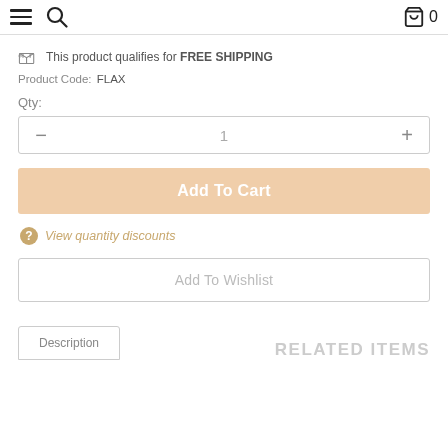Navigation header with hamburger menu, search icon, and cart (0)
This product qualifies for FREE SHIPPING
Product Code:  FLAX
Qty:
Add To Cart
View quantity discounts
Add To Wishlist
Description
RELATED ITEMS